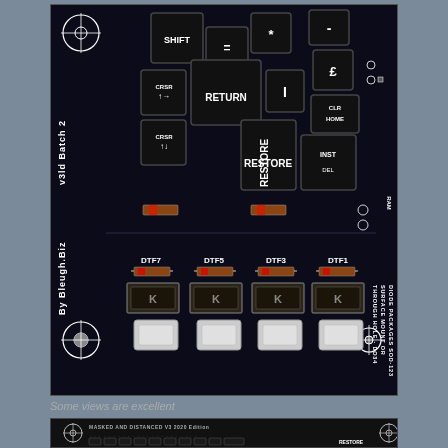[Figure (photo): Close-up photo of a black PCB (printed circuit board) for a Commodore 64 keyboard replacement. The board is labeled 'v3ld Batch 2 By Bleugh.Biz' on the left side. Keys visible include SHIFT, =, *, -, CRSR up/right, RETURN, I, CLR/HOME, RESTORE, CRSR up/down, INST/DEL. Right side text reads 'DIODE PACKAGES SOD-123 SURFACE MOUNT OR THROUGH HOLE - DO34'. Bottom section shows four switch positions labeled DTF7, DTF5, DTF3, DTF1 with diode components and white switches. Registration/alignment crosshair circles visible at corners.]
Some views are excellent
[Figure (photo): Second photo showing a wider, flatter PCB labeled 'MASKED AND DISTANCED V3 2020 Edition' with a full row of keys at the bottom, small text labels, and alignment markers.]